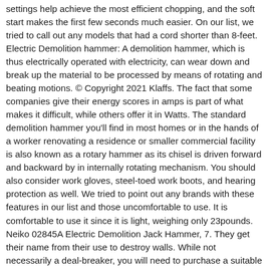settings help achieve the most efficient chopping, and the soft start makes the first few seconds much easier. On our list, we tried to call out any models that had a cord shorter than 8-feet. Electric Demolition hammer: A demolition hammer, which is thus electrically operated with electricity, can wear down and break up the material to be processed by means of rotating and beating motions. © Copyright 2021 Klaffs. The fact that some companies give their energy scores in amps is part of what makes it difficult, while others offer it in Watts. The standard demolition hammer you'll find in most homes or in the hands of a worker renovating a residence or smaller commercial facility is also known as a rotary hammer as its chisel is driven forward and backward by in internally rotating mechanism. You should also consider work gloves, steel-toed work boots, and hearing protection as well. We tried to point out any brands with these features in our list and those uncomfortable to use. It is comfortable to use it since it is light, weighing only 23pounds. Neiko 02845A Electric Demolition Jack Hammer, 7. They get their name from their use to destroy walls. While not necessarily a deal-breaker, you will need to purchase a suitable extension cord as many household versions are too thin to handle the power draw. Hammer Drill for Removing Tile Buying Guide. I've been exploring for a bit for any high-quality articles or blog posts in this sort of When he's not writing, Ed is